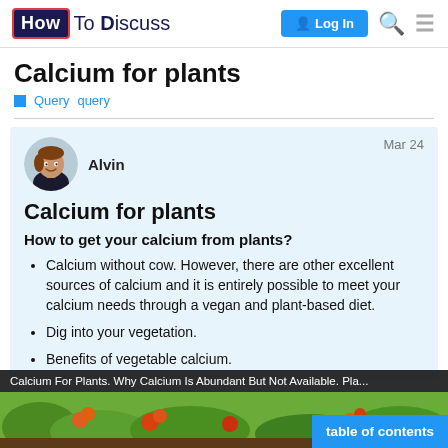How To Discuss — Log In
Calcium for plants
Query  query
Alvin  Mar 24
Calcium for plants
How to get your calcium from plants?
Calcium without cow. However, there are other excellent sources of calcium and it is entirely possible to meet your calcium needs through a vegan and plant-based diet.
Dig into your vegetation.
Benefits of vegetable calcium.
[Figure (screenshot): Video thumbnail bar: Calcium For Plants. Why Calcium Is Abundant But Not Available. Pla... with a garden image below and a 'table of contents' button]
Calcium For Plants. Why Calcium Is Abundant But Not Available. Pla...